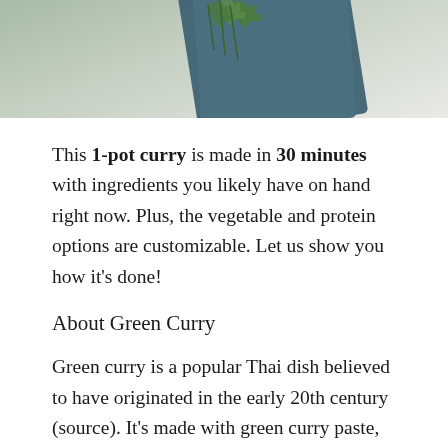[Figure (photo): Top portion of a food photo showing herbs/greens and a teal/blue-green fabric cloth on a light surface, cropped at the bottom]
This 1-pot curry is made in 30 minutes with ingredients you likely have on hand right now. Plus, the vegetable and protein options are customizable. Let us show you how it's done!
About Green Curry
Green curry is a popular Thai dish believed to have originated in the early 20th century (source). It's made with green curry paste, coconut milk, veggies, and meat and/or seafood.